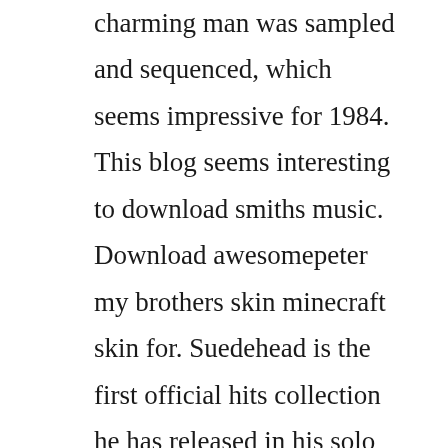charming man was sampled and sequenced, which seems impressive for 1984. This blog seems interesting to download smiths music. Download awesomepeter my brothers skin minecraft skin for. Suedehead is the first official hits collection he has released in his solo career. But morrissey had waited long enough to do it on his terms, rejecting major labels for sanctuary on the condition that they revive the reggae imprint attack records and recording you are the quarry with his longtime touring band, with producer jerry finn, bestknown for his work with neopunk bands